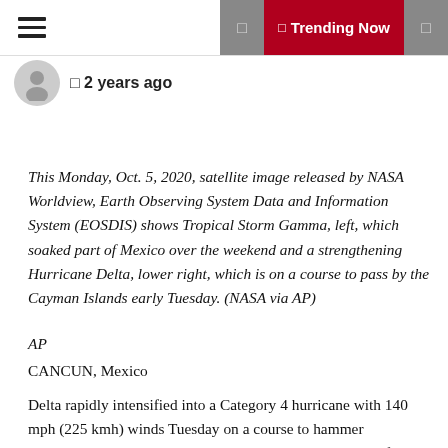☰  ◻  🔥 Trending Now  🔍
◻ 2 years ago
This Monday, Oct. 5, 2020, satellite image released by NASA Worldview, Earth Observing System Data and Information System (EOSDIS) shows Tropical Storm Gamma, left, which soaked part of Mexico over the weekend and a strengthening Hurricane Delta, lower right, which is on a course to pass by the Cayman Islands early Tuesday. (NASA via AP)
AP
CANCUN, Mexico
Delta rapidly intensified into a Category 4 hurricane with 140 mph (225 kmh) winds Tuesday on a course to hammer southeastern Mexico and then continue on to the U.S. Gulf coast this week.